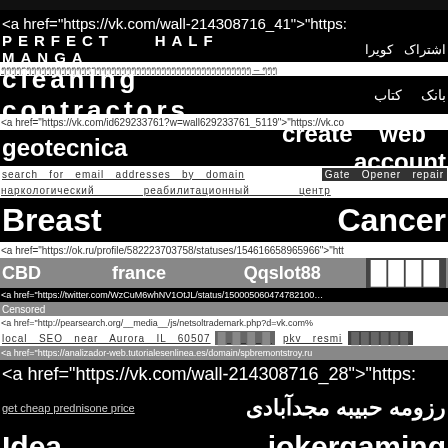<a href="https://vk.com/wall-214308716_41">"https:
PERFECT    HALF    MANGA   اشتراک کویرا
ๆๆๆๆๆๆๆๆๆๆๆๆๆๆๆๆๆๆๆๆๆๆๆๆๆๆๆๆๆๆๆๆๆๆๆๆๆๆๆๆๆๆๆๆๆๆๆๆๆๆ – ๆๆๆ
cleaning        contractors   بانک   کتاب
<a href="https://vk.com/id629233761?w=wall629233761_5119">"https://vk.co
geotecnica    create    web    account
search  for  email  addresses  by  domain   Gate Opener repair
наркологический                реабилитационный                центр
Breast                                                    Cancer
<a href="https://ok.ru/profile/582223703758/statuses/154616658965966">"htt
CBD          france               Qqslot88          ████
<a href="https://twitter.com/WzCuM6whNV1OtJL/status/150005060474782110
Censored
<a href="http://pearsearch.org/__media__/js/netsoltrademark.php?d=vk.com%
local SEO near Aurora IL 60507   ████   pkv resmi   ██████
<a href="https://analizador-web.tutorialesenlinea.es/domain/spbremontstroy.ru
<a href="https://vk.com/wall-214308716_28">"https:
get cheap prednisone price   رزومه حبیبه مجدآبادی
Idea                                     jokergaming
bodrum              tekne              turu
<a href="http://cmsrddc.us/__media__/js/netsoltrademark.php?d=vk.com%2F
dental                    implant                    abroad